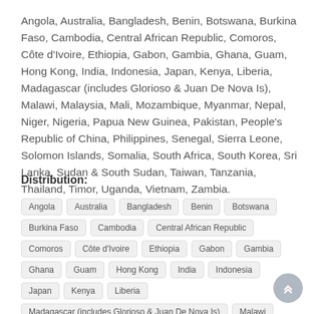Angola, Australia, Bangladesh, Benin, Botswana, Burkina Faso, Cambodia, Central African Republic, Comoros, Côte d'Ivoire, Ethiopia, Gabon, Gambia, Ghana, Guam, Hong Kong, India, Indonesia, Japan, Kenya, Liberia, Madagascar (includes Glorioso & Juan De Nova Is), Malawi, Malaysia, Mali, Mozambique, Myanmar, Nepal, Niger, Nigeria, Papua New Guinea, Pakistan, People's Republic of China, Philippines, Senegal, Sierra Leone, Solomon Islands, Somalia, South Africa, South Korea, Sri Lanka, Sudan & South Sudan, Taiwan, Tanzania, Thailand, Timor, Uganda, Vietnam, Zambia.
Distribution:
Angola, Australia, Bangladesh, Benin, Botswana, Burkina Faso, Cambodia, Central African Republic, Comoros, Côte d'Ivoire, Ethiopia, Gabon, Gambia, Ghana, Guam, Hong Kong, India, Indonesia, Japan, Kenya, Liberia, Madagascar (includes Glorioso & Juan De Nova Is), Malawi, Malaysia